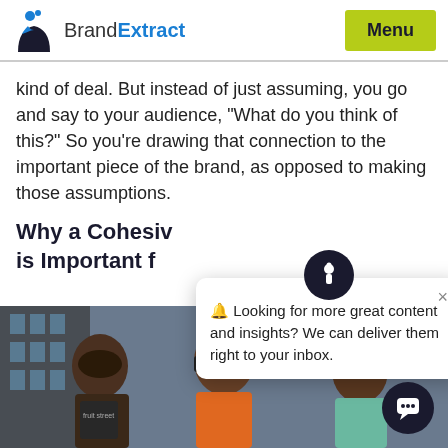BrandExtract | Menu
kind of deal. But instead of just assuming, you go and say to your audience, "What do you think of this?" So you're drawing that connection to the important piece of the brand, as opposed to making those assumptions.
Why a Cohesive [Brand Strategy] is Important f[or Your Business]
[Figure (photo): Three young Black men standing outdoors in sporty/streetwear clothing, with a building and cloudy sky in the background. One wearing a beanie, one wearing headphones and an orange shirt, one wearing sunglasses.]
🔔 Looking for more great content and insights? We can deliver them right to your inbox.